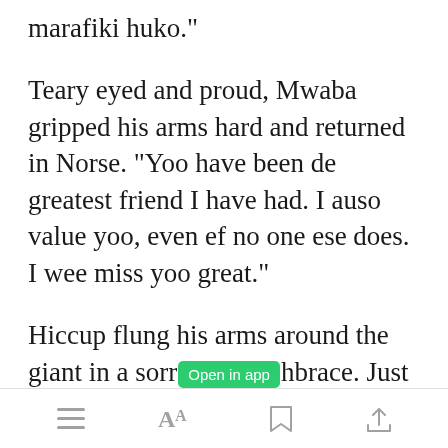marafiki huko."
Teary eyed and proud, Mwaba gripped his arms hard and returned in Norse. "Yoo have been de greatest friend I have had. I auso value yoo, even ef no one ese does. I wee miss yoo great."
Hiccup flung his arms around the giant in a sorrowful embrace. Just [Open in app button overlay]